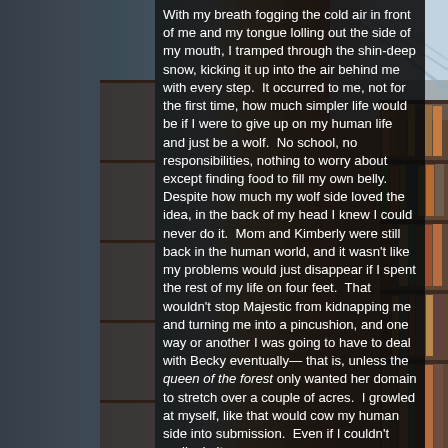[Figure (photo): Background photo of a library with bookshelves visible on the right side and blue architectural ceiling/skylight visible in the upper right. The left portion is darker.]
With my breath fogging the cold air in front of me and my tongue lolling out the side of my mouth, I tramped through the shin-deep snow, kicking it up into the air behind me with every step.  It occurred to me, not for the first time, how much simpler life would be if I were to give up on my human life and just be a wolf.  No school, no responsibilities, nothing to worry about except finding food to fill my own belly.  Despite how much my wolf side loved the idea, in the back of my head I knew I could never do it.  Mom and Kimberly were still back in the human world, and it wasn't like my problems would just disappear if I spent the rest of my life on four feet.  That wouldn't stop Majestic from kidnapping me and turning me into a pincushion, and one way or another I was going to have to deal with Becky eventually— that is, unless the queen of the forest only wanted her domain to stretch over a couple of acres.  I growled at myself, like that would cow my human side into submission.  Even if I couldn't really do it,